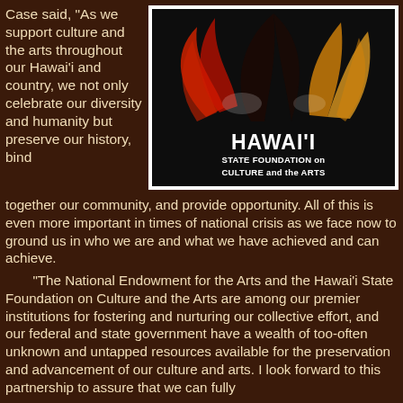Case said, "As we support culture and the arts throughout our Hawai'i and country, we not only celebrate our diversity and humanity but preserve our history, bind together our community, and provide opportunity. All of this is even more important in times of national crisis as we face now to ground us in who we are and what we have achieved and can achieve.
[Figure (logo): Hawai'i State Foundation on Culture and the Arts logo: black background with red and gold flame/teardrop shapes, white text reading HAWAI'I STATE FOUNDATION on CULTURE and the ARTS]
"The National Endowment for the Arts and the Hawai'i State Foundation on Culture and the Arts are among our premier institutions for fostering and nurturing our collective effort, and our federal and state government have a wealth of too-often unknown and untapped resources available for the preservation and advancement of our culture and arts. I look forward to this partnership to assure that we can fully